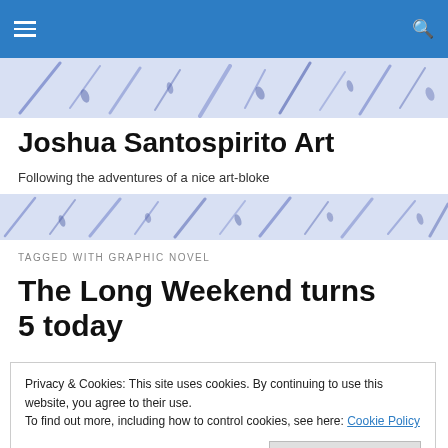Joshua Santospirito Art – navigation bar with hamburger menu and search icon
[Figure (illustration): Decorative header band with blue brush stroke / paintbrush marks on a light periwinkle background]
Joshua Santospirito Art
Following the adventures of a nice art-bloke
[Figure (illustration): Decorative lower band with blue brush stroke / paintbrush marks on a light periwinkle background]
TAGGED WITH GRAPHIC NOVEL
The Long Weekend turns 5 today
Privacy & Cookies: This site uses cookies. By continuing to use this website, you agree to their use.
To find out more, including how to control cookies, see here: Cookie Policy
chango mo